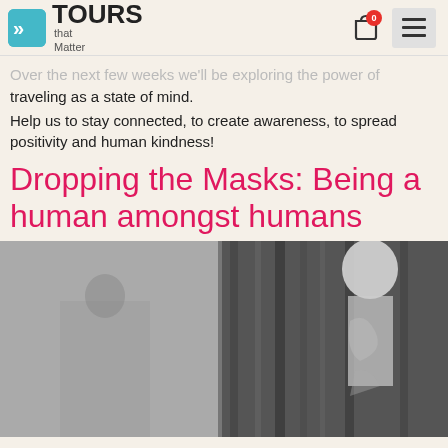TOURS that Matter
Over the next few weeks we'll be exploring the power of traveling as a state of mind.
Help us to stay connected, to create awareness, to spread positivity and human kindness!
Dropping the Masks: Being a human amongst humans
[Figure (photo): Black and white photograph showing two figures, partially visible, with draped fabric or curtains in the background]